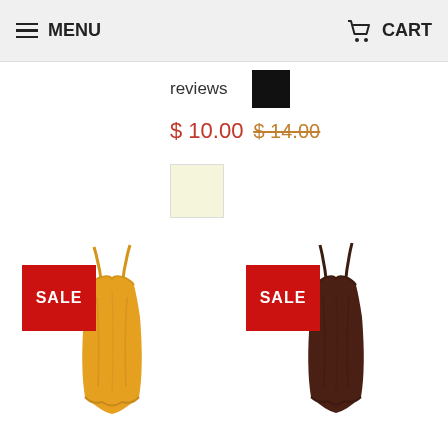MENU  CART
reviews
$ 10.00  $ 14.00
[Figure (photo): Small black color swatch square]
[Figure (photo): Cream/ivory color swatch square]
[Figure (photo): Yellow/gold Women's Sugar Lips Stretch Ribbed Camisole with Lace, with red SALE badge]
[Figure (photo): Dark brown Women's Sugar Lips Stretch Ribbed Camisole w/ Lace, with red SALE badge]
Women's Sugar Lips | Stretch Ribbed Camisole with Lace |
Women's Sugar Lips | Stretch Ribbed Camisole w/ Lace |